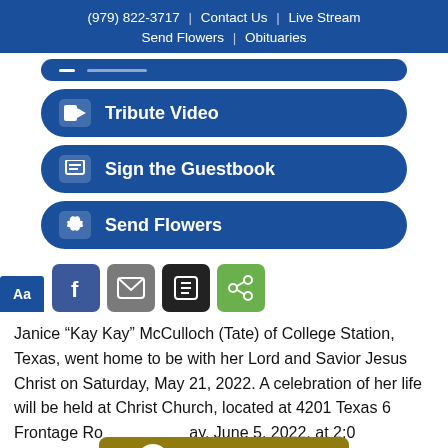(979) 822-3717 | Contact Us | Live Stream
Send Flowers | Obituaries
[Figure (screenshot): Navigation buttons: partially visible top button, Tribute Video button, Sign the Guestbook button, Send Flowers button — all dark blue rounded rectangle buttons]
[Figure (screenshot): Social sharing icons row: Aa font size button (blue), Facebook (blue), Email (gray), Print (black), Share (green)]
Janice “Kay Kay” McCulloch (Tate) of College Station, Texas, went home to be with her Lord and Savior Jesus Christ on Saturday, May 21, 2022. A celebration of her life will be held at Christ Church, located at 4201 Texas 6 Frontage Ro[ad], [Sund]ay, June 5, 2022, at 2:0[0 p.m. to follo]w.
[Figure (screenshot): Read Our Reviews banner — dark gold/brown background with white star icon in circle on left and 'Read Our Reviews' text in white bold font]